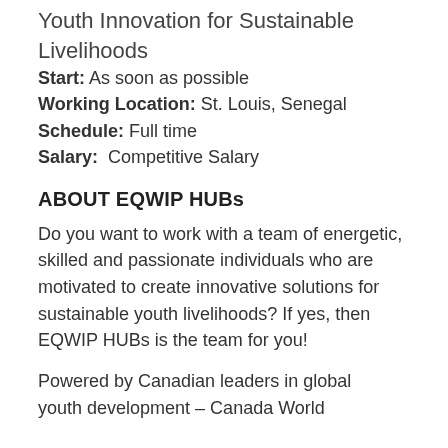Youth Innovation for Sustainable Livelihoods
Start: As soon as possible
Working Location: St. Louis, Senegal
Schedule: Full time
Salary: Competitive Salary
ABOUT EQWIP HUBs
Do you want to work with a team of energetic, skilled and passionate individuals who are motivated to create innovative solutions for sustainable youth livelihoods? If yes, then EQWIP HUBs is the team for you!
Powered by Canadian leaders in global youth development – Canada World